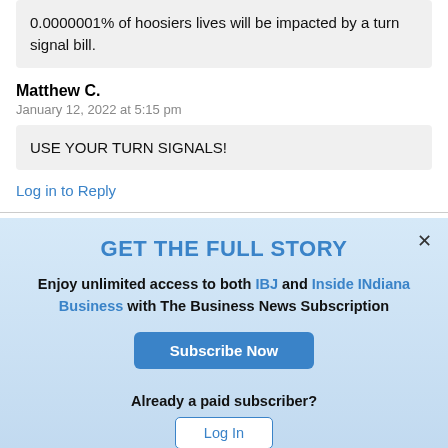0.0000001% of hoosiers lives will be impacted by a turn signal bill.
Matthew C.
January 12, 2022 at 5:15 pm
USE YOUR TURN SIGNALS!
Log in to Reply
GET THE FULL STORY
Enjoy unlimited access to both IBJ and Inside INdiana Business with The Business News Subscription
Subscribe Now
Already a paid subscriber?
Log In